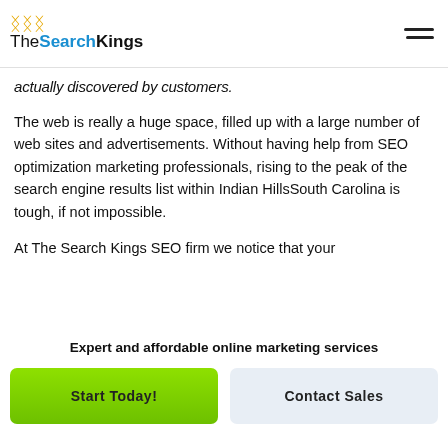TheSearchKings
actually discovered by customers.
The web is really a huge space, filled up with a large number of web sites and advertisements. Without having help from SEO optimization marketing professionals, rising to the peak of the search engine results list within Indian HillsSouth Carolina is tough, if not impossible.
At The Search Kings SEO firm we notice that your
Expert and affordable online marketing services
Start Today!
Contact Sales